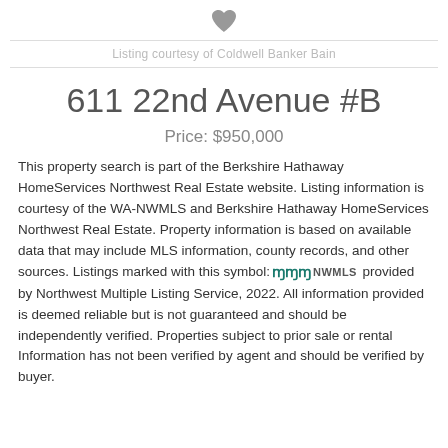[Figure (illustration): Heart icon (favorite/save button) centered at top]
Listing courtesy of Coldwell Banker Bain
611 22nd Avenue #B
Price: $950,000
This property search is part of the Berkshire Hathaway HomeServices Northwest Real Estate website. Listing information is courtesy of the WA-NWMLS and Berkshire Hathaway HomeServices Northwest Real Estate. Property information is based on available data that may include MLS information, county records, and other sources. Listings marked with this symbol: [NWMLS logo] provided by Northwest Multiple Listing Service, 2022. All information provided is deemed reliable but is not guaranteed and should be independently verified. Properties subject to prior sale or rental Information has not been verified by agent and should be verified by buyer.